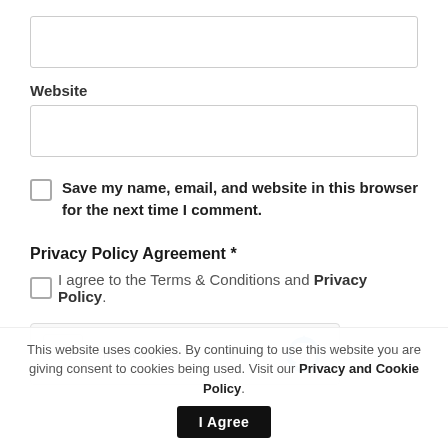[Figure (screenshot): Empty text input field (top of page, partly cut off)]
Website
[Figure (screenshot): Empty text input field for Website]
Save my name, email, and website in this browser for the next time I comment.
Privacy Policy Agreement *
I agree to the Terms & Conditions and Privacy Policy.
[Figure (screenshot): reCAPTCHA widget showing checkbox and 'I'm not a robot' text with reCAPTCHA logo]
This website uses cookies. By continuing to use this website you are giving consent to cookies being used. Visit our Privacy and Cookie Policy.
I Agree